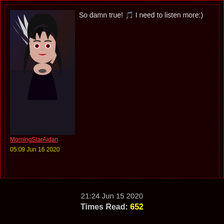[Figure (illustration): Anime-style avatar of a dark-haired female character with white wing accent]
MorningStarAidan
05:09 Jun 16 2020
So damn true! 🎵 I need to listen more:)
POST COMMENT
21:24 Jun 15 2020
Times Read: 652